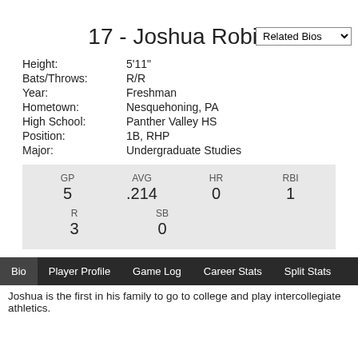Related Bios
17 - Joshua Robin
Height: 5'11"
Bats/Throws: R/R
Year: Freshman
Hometown: Nesquehoning, PA
High School: Panther Valley HS
Position: 1B, RHP
Major: Undergraduate Studies
| GP | AVG | HR | RBI | R | SB |
| --- | --- | --- | --- | --- | --- |
| 5 | .214 | 0 | 1 | 3 | 0 |
Bio | Player Profile | Game Log | Career Stats | Split Stats
Joshua is the first in his family to go to college and play intercollegiate athletics.